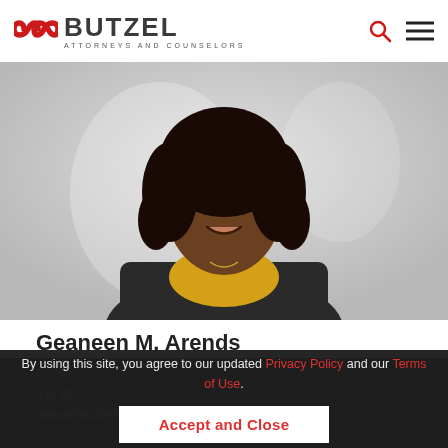[Figure (logo): Butzel law firm logo with red infinity/chain link icon and text BUTZEL ATTORNEYS AND COUNSELORS]
[Figure (photo): Professional headshot of Geaneen M. Arends, a woman with curly dark hair, wearing a yellow top and dark blazer, smiling against a blurred background]
Geaneen M. Arends
DIRECTOR
313 22...
arends@butzel.com
By using this site, you agree to our updated Privacy Policy and our Terms of Use.
Accept and Close